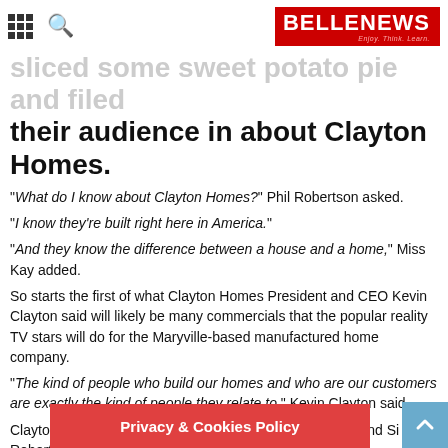BELLENEWS — Enjoy. Think. Learn.
sliced some sweet potato pie and filled their audience in about Clayton Homes.
"What do I know about Clayton Homes?" Phil Robertson asked.
"I know they're built right here in America."
"And they know the difference between a house and a home," Miss Kay added.
So starts the first of what Clayton Homes President and CEO Kevin Clayton said will likely be many commercials that the popular reality TV stars will do for the Maryville-based manufactured home company.
"The kind of people who build our homes and who are our customers are exactly the kind of people they relate to," Kevin Clayton said.
Clayton Homes has signed an agreement with Phil, Kay and Si Robertson from the popular A&
Privacy & Cookies Policy